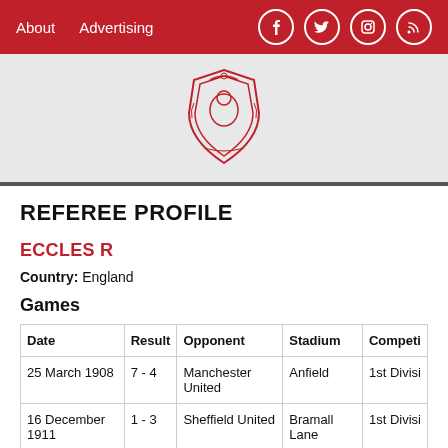About  Advertising
[Figure (logo): Red and white football club crest/badge logo in red outline style]
REFEREE PROFILE
ECCLES R
Country: England
Games
| Date | Result | Opponent | Stadium | Competi |
| --- | --- | --- | --- | --- |
| 25 March 1908 | 7 - 4 | Manchester United | Anfield | 1st Divisi |
| 16 December 1911 | 1 - 3 | Sheffield United | Bramall Lane | 1st Divisi |